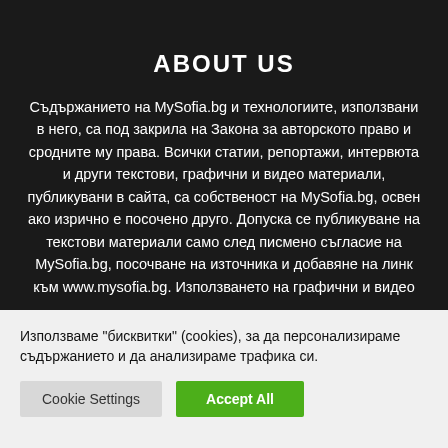ABOUT US
Съдържанието на MySofia.bg и технологиите, използвани в него, са под закрила на Закона за авторското право и сродните му права. Всички статии, репортажи, интервюта и други текстови, графични и видео материали, публикувани в сайта, са собственост на MySofia.bg, освен ако изрично е посочено друго. Допуска се публикуване на текстови материали само след писмено съгласие на MySofia.bg, посочване на източника и добавяне на линк към www.mysofia.bg. Използването на графични и видео
Използваме "бисквитки" (cookies), за да персонализираме съдържанието и да анализираме трафика си.
Cookie Settings | Accept All